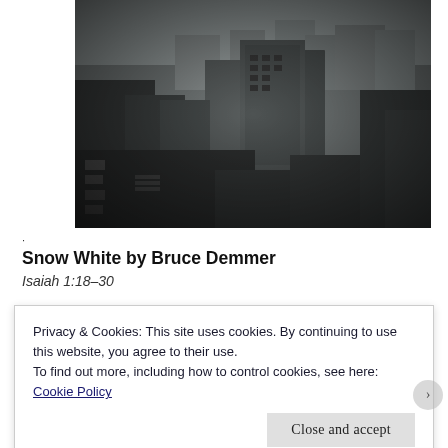[Figure (photo): Aerial black-and-white photograph of an urban cityscape taken from a high vantage point, showing densely packed multi-story buildings, streets with vehicles, and city blocks stretching into the distance.]
·
Snow White by Bruce Demmer
Isaiah 1:18–30
Privacy & Cookies: This site uses cookies. By continuing to use this website, you agree to their use.
To find out more, including how to control cookies, see here:
Cookie Policy
Close and accept